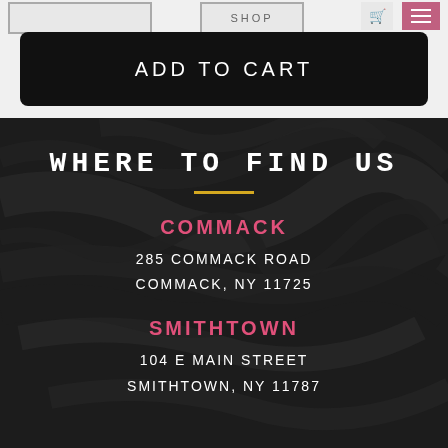ADD TO CART
WHERE TO FIND US
COMMACK
285 COMMACK ROAD
COMMACK, NY 11725
SMITHTOWN
104 E MAIN STREET
SMITHTOWN, NY 11787